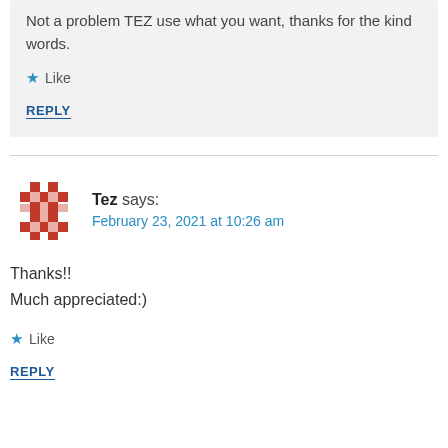Not a problem TEZ use what you want, thanks for the kind words.
Like
REPLY
Tez says:
February 23, 2021 at 10:26 am
Thanks!!
Much appreciated:)
Like
REPLY